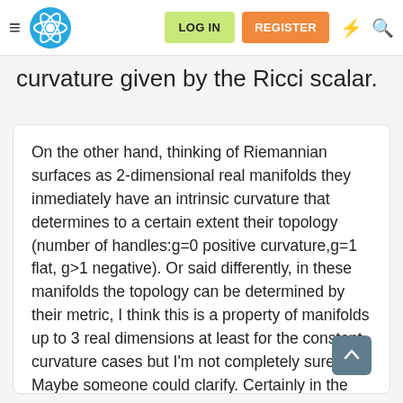LOG IN  REGISTER
curvature given by the Ricci scalar.
On the other hand, thinking of Riemannian surfaces as 2-dimensional real manifolds they inmediately have an intrinsic curvature that determines to a certain extent their topology (number of handles:g=0 positive curvature,g=1 flat, g>1 negative). Or said differently, in these manifolds the topology can be determined by their metric, I think this is a property of manifolds up to 3 real dimensions at least for the constant curvature cases but I'm not completely sure. Maybe someone could clarify. Certainly in the GR 4-manifold the metric does not give us the general topology.